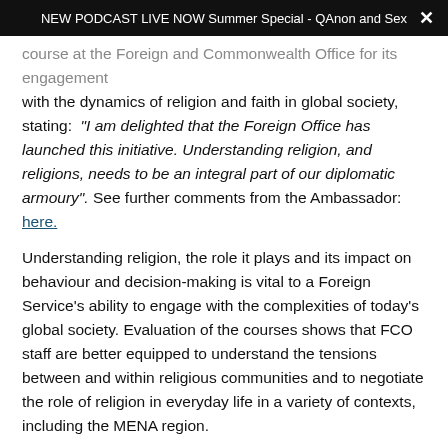NEW PODCAST LIVE NOW Summer Special - QAnon and Sex ×
course at the Foreign and Commonwealth Office for its engagement with the dynamics of religion and faith in global society, stating: "I am delighted that the Foreign Office has launched this initiative. Understanding religion, and religions, needs to be an integral part of our diplomatic armoury". See further comments from the Ambassador: here.
Understanding religion, the role it plays and its impact on behaviour and decision-making is vital to a Foreign Service's ability to engage with the complexities of today's global society. Evaluation of the courses shows that FCO staff are better equipped to understand the tensions between and within religious communities and to negotiate the role of religion in everyday life in a variety of contexts, including the MENA region.
Feedback from workshops:
"Excellent speakers, well presented and knowledgeable sessions"
"This was a fascinating and excellent course. I wish it had been more than one day so we could have covered more topics"